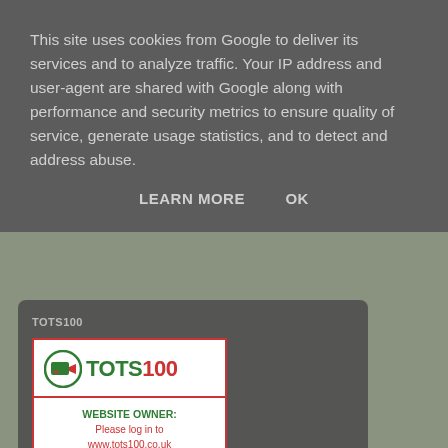This site uses cookies from Google to deliver its services and to analyze traffic. Your IP address and user-agent are shared with Google along with performance and security metrics to ensure quality of service, generate usage statistics, and to detect and address abuse.
LEARN MORE    OK
TOTS100
[Figure (logo): TOTS100 badge with parenting influencer logo. Top section has TOTS100 logo with green and red text. Middle section says WEBSITE OWNER: Please log in to www.tots100.co.uk and update your badge code. Bottom section shows Instagram icon with PARENTING INFLUENCER text in red.]